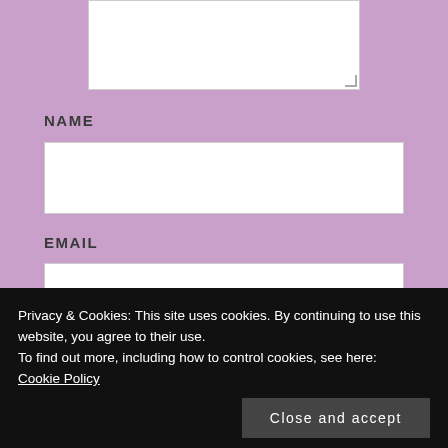[Figure (screenshot): Textarea input field (white, empty, resizable)]
NAME
[Figure (screenshot): Name text input field (white, empty)]
EMAIL
[Figure (screenshot): Email text input field (white, empty)]
WEBSITE
[Figure (screenshot): Website text input field (white, empty, partially visible)]
Privacy & Cookies: This site uses cookies. By continuing to use this website, you agree to their use.
To find out more, including how to control cookies, see here:
Cookie Policy
Close and accept